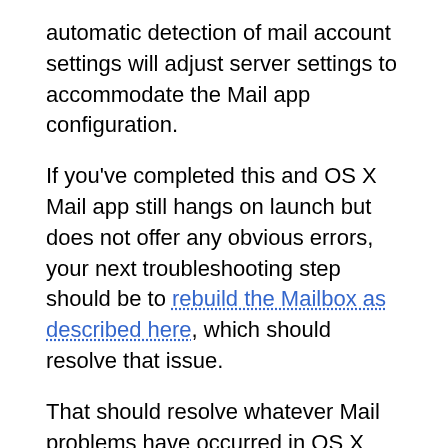automatic detection of mail account settings will adjust server settings to accommodate the Mail app configuration.
If you've completed this and OS X Mail app still hangs on launch but does not offer any obvious errors, your next troubleshooting step should be to rebuild the Mailbox as described here, which should resolve that issue.
That should resolve whatever Mail problems have occurred in OS X after installing OS X 10.10.4 or OS X 10.11 El Capitan, but if you continue to encounter trouble, specifically with SMTP mail accounts, these solutions should do the trick.
Not all users encounter this issue with Mail app after installing an OS X update, and though the reason is unclear, it's possible the problematic setups had